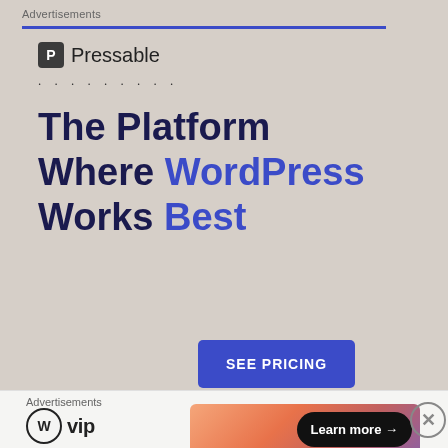Advertisements
[Figure (logo): Pressable logo with dark square icon bearing letter P and the text Pressable]
· · · · · · · · ·
[Figure (infographic): Advertisement: The Platform Where WordPress Works Best, with a SEE PRICING button]
REPORT THIS AD
Trying a police officer against our current justice system creates problems for prosecutors, and
Advertisements
[Figure (logo): WordPress VIP logo alongside a gradient-background Learn more button]
[Figure (other): Close / X button circle]